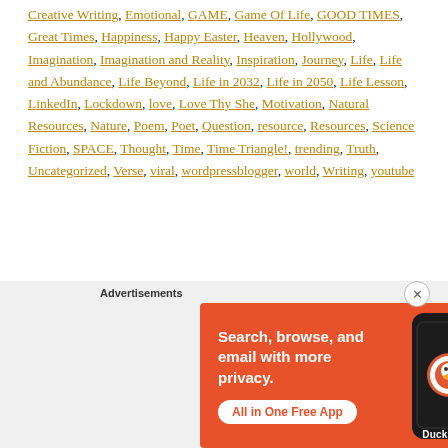Creative Writing, Emotional, GAME, Game Of Life, GOOD TIMES, Great Times, Happiness, Happy Easter, Heaven, Hollywood, Imagination, Imagination and Reality, Inspiration, Journey, Life, Life and Abundance, Life Beyond, Life in 2032, Life in 2050, Life Lesson, LinkedIn, Lockdown, love, Love Thy She, Motivation, Natural Resources, Nature, Poem, Poet, Question, resource, Resources, Science Fiction, SPACE, Thought, Time, Time Triangle!, trending, Truth, Uncategorized, Verse, viral, wordpressblogger, world, Writing, youtube
Advertisements
[Figure (infographic): DuckDuckGo advertisement banner with orange background. Text reads: Search, browse, and email with more privacy. All in One Free App. Shows a smartphone with DuckDuckGo logo.]